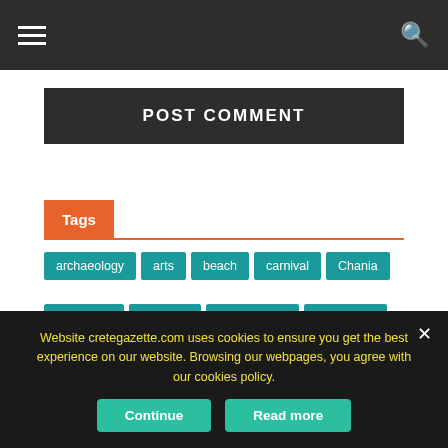≡  🔍
POST COMMENT
Tags
archaeology
arts
beach
carnival
Chania
Christmas
diaspora
earthquakes
East Crete
environment
events
featured
Heraklion
history
humor
Lassithi
letters
living in Crete
music
Website cretegazette.com uses cookies to ensure you get the best experience on our website. Browsing our webpages, you agree with our cookies policy.
Continue  Read more